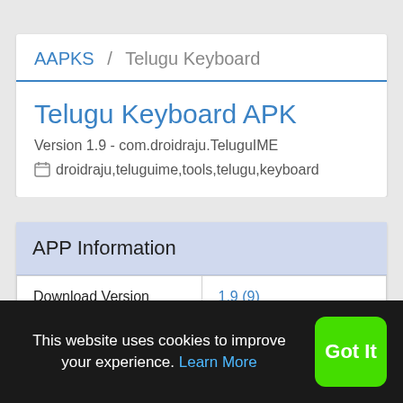AAPKS / Telugu Keyboard
Telugu Keyboard APK
Version 1.9 - com.droidraju.TeluguIME
droidraju,teluguime,tools,telugu,keyboard
APP Information
| Download Version |  |
| --- | --- |
| Download Version | 1.9 (9) |
This website uses cookies to improve your experience. Learn More
Got It